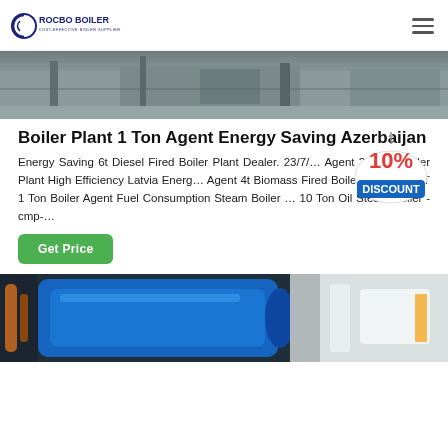ROCBO BOILER — COST-EFFECTIVE BOILER SUPPLIER
[Figure (photo): Industrial boiler equipment in factory setting, top partial view]
Boiler Plant 1 Ton Agent Energy Saving Azerbaijan
Energy Saving 6t Diesel Fired Boiler Plant Dealer. 23/7/… Agent 2t Coal Boiler Plant High Efficiency Latvia Energ… Agent 4t Biomass Fired Boiler Moldavia. 6T 1 Ton Boiler Agent Fuel Consumption Steam Boiler … 10 Ton Oil Steam Boiler - cmp-…
[Figure (infographic): 10% DISCOUNT badge/label hanging sign in red and blue]
Get Price
[Figure (photo): Industrial boiler equipment with blue casing in factory setting, bottom partial view]